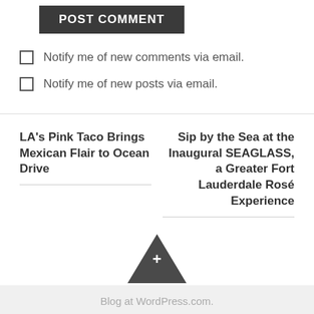[Figure (other): POST COMMENT button — dark grey rectangular button with white bold uppercase text]
Notify me of new comments via email.
Notify me of new posts via email.
LA’s Pink Taco Brings Mexican Flair to Ocean Drive
Sip by the Sea at the Inaugural SEAGLASS, a Greater Fort Lauderdale Rosé Experience
[Figure (other): Dark grey upward-pointing triangle with a white plus sign in the center]
Blog at WordPress.com.